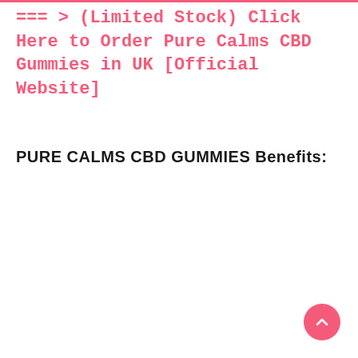=== > (Limited Stock) Click Here to Order Pure Calms CBD Gummies in UK [Official Website]
PURE CALMS CBD GUMMIES Benefits: